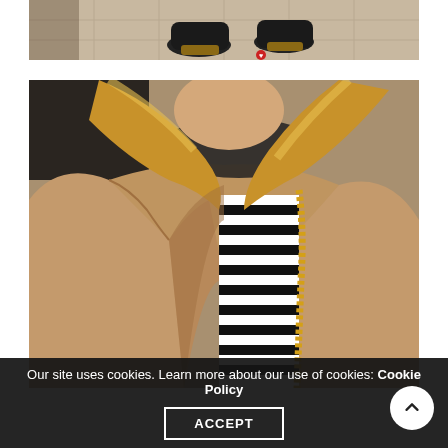[Figure (photo): Top portion of a fashion photo showing feet/shoes (dark ankle boots with platform soles) on a tiled surface, viewed from above. Small red detail visible on ground.]
[Figure (photo): Close-up fashion photo of a woman wearing a camel/tan wool coat with lapels, a black and white horizontal striped top underneath, and a gold chain-strap bag. Her long highlighted blonde hair is blowing. Dark fur collar detail visible at top.]
Our site uses cookies. Learn more about our use of cookies: Cookie Policy
ACCEPT